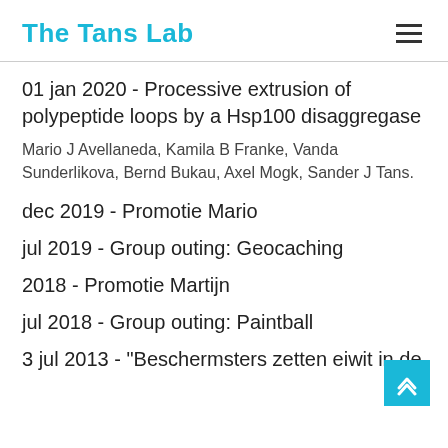The Tans Lab
01 jan 2020 - Processive extrusion of polypeptide loops by a Hsp100 disaggregase
Mario J Avellaneda, Kamila B Franke, Vanda Sunderlikova, Bernd Bukau, Axel Mogk, Sander J Tans.
dec 2019 - Promotie Mario
jul 2019 - Group outing: Geocaching
2018 - Promotie Martijn
jul 2018 - Group outing: Paintball
3 jul 2013 - "Beschermsters zetten eiwit in de